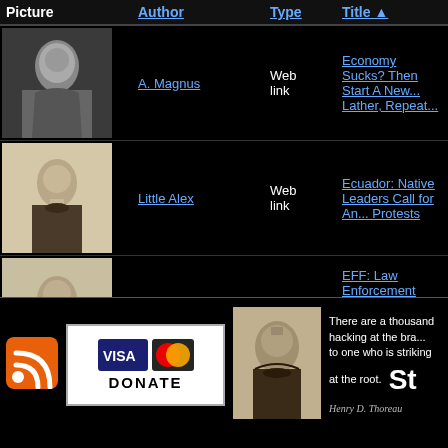| Picture | Author | Type | Title ▲ |
| --- | --- | --- | --- |
| [image] | A. Magnus | Web link | Economy Sucks? Then Start A New... Lather, Repeat... |
| [image] | Little Alex | Web link | Ecuador: Native Leaders Call for An... Protests |
| [image] | Government Deni... | Web link | EFF: Law Enforcement 'Desperately... Use of Surveillance Cell... |
| [image] | Craig Russell | Page | Elections and the Lesson of Frodo |
« first  ‹ previous  ...  2  3  4  5  6  last »
[Figure (logo): RSS feed icon (orange square with white WiFi/RSS symbol)]
[Figure (other): Donate button with Visa and MasterCard logos]
[Figure (photo): Black and white portrait photo of Henry David Thoreau]
There are a thousand hacking at the bra... to one who is striking at the root. St
Henry D. Thoreau (signature)